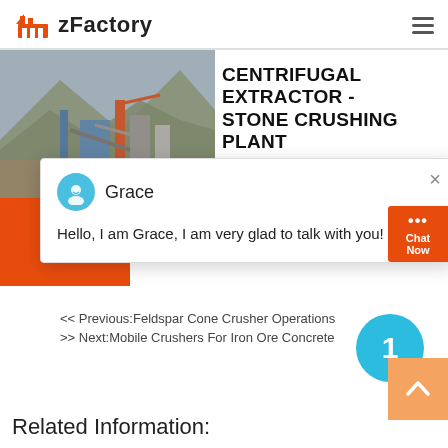zFactory
[Figure (photo): Industrial stone crushing plant with machinery and mountains in background]
CENTRIFUGAL EXTRACTOR - STONE CRUSHING PLANT
Grace
Hello, I am Grace, I am very glad to talk with you!
<< Previous:Feldspar Cone Crusher Operations
>> Next:Mobile Crushers For Iron Ore Concrete
Related Information: